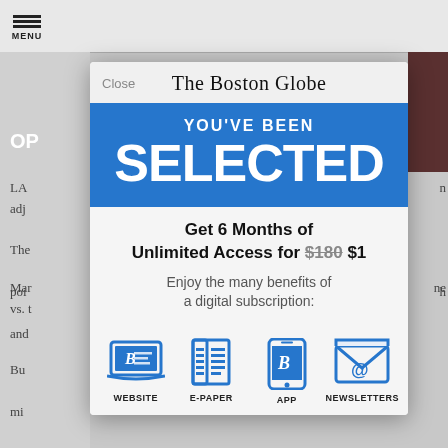[Figure (screenshot): Screenshot of The Boston Globe website with a subscription modal overlay. The modal has a blue banner reading 'YOU'VE BEEN SELECTED' and an offer for '6 Months of Unlimited Access for $180 $1'. Below are four blue icons: WEBSITE, E-PAPER, APP, NEWSLETTERS.]
The Boston Globe
YOU'VE BEEN
SELECTED
Get 6 Months of Unlimited Access for $180 $1
Enjoy the many benefits of a digital subscription:
WEBSITE  E-PAPER  APP  NEWSLETTERS